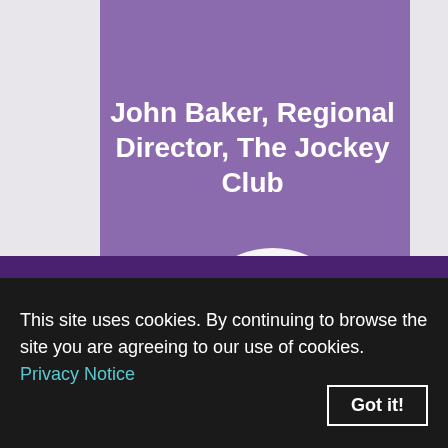John Baker, Regional Director, The Jockey Club
[Figure (logo): The Jockey Club logo: white circle with four gold diamond shapes and text 'THE JOCKEY CLUB Since 1750']
This site uses cookies. By continuing to browse the site you are agreeing to our use of cookies. Privacy Notice  Got it!